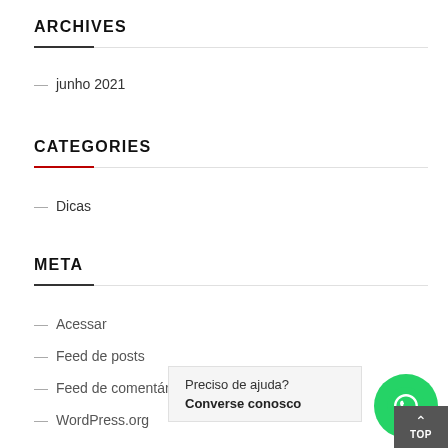ARCHIVES
— junho 2021
CATEGORIES
— Dicas
META
— Acessar
— Feed de posts
— Feed de comentários
— WordPress.org
Preciso de ajuda? Converse conosco